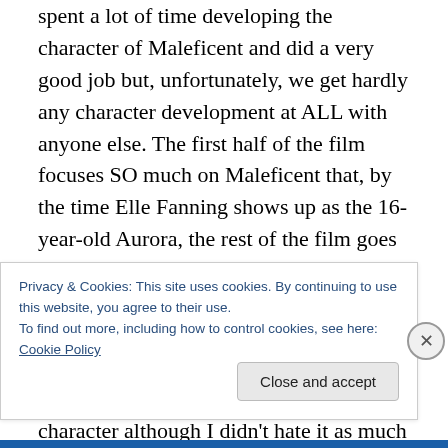spent a lot of time developing the character of Maleficent and did a very good job but, unfortunately, we get hardly any character development at ALL with anyone else. The first half of the film focuses SO much on Maleficent that, by the time Elle Fanning shows up as the 16-year-old Aurora, the rest of the film goes far too quickly and we barely get to know Aurora at all. Her father, King Stefan, well… I don't know how to discuss him without spoilers either. I also wasn't crazy about the changes made with his character although I didn't hate it as much as with the
Privacy & Cookies: This site uses cookies. By continuing to use this website, you agree to their use.
To find out more, including how to control cookies, see here: Cookie Policy